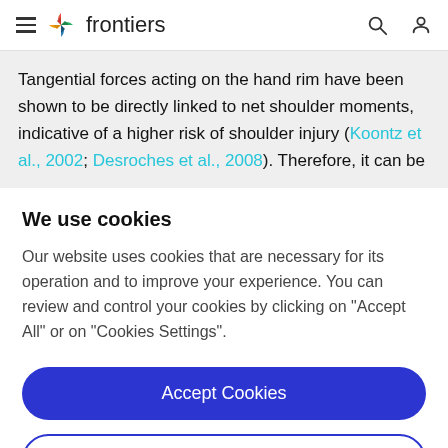frontiers
Tangential forces acting on the hand rim have been shown to be directly linked to net shoulder moments, indicative of a higher risk of shoulder injury (Koontz et al., 2002; Desroches et al., 2008). Therefore, it can be
We use cookies
Our website uses cookies that are necessary for its operation and to improve your experience. You can review and control your cookies by clicking on "Accept All" or on "Cookies Settings".
Accept Cookies
Cookies Settings